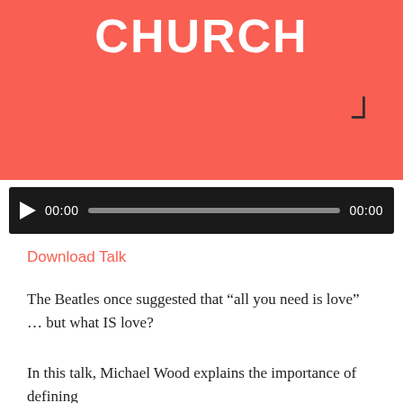[Figure (illustration): Red/coral background image with large white bold text reading CHURCH and a dark corner bracket symbol in the lower right]
[Figure (screenshot): Audio player bar with play button, 00:00 start time, progress bar, and 00:00 end time on dark background]
Download Talk
The Beatles once suggested that “all you need is love” … but what IS love?
In this talk, Michael Wood explains the importance of defining